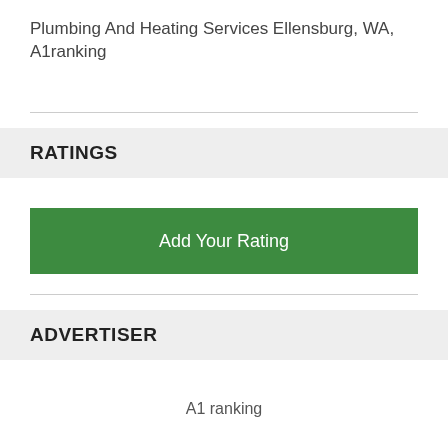Plumbing And Heating Services Ellensburg, WA, A1ranking
RATINGS
Add Your Rating
ADVERTISER
A1 ranking